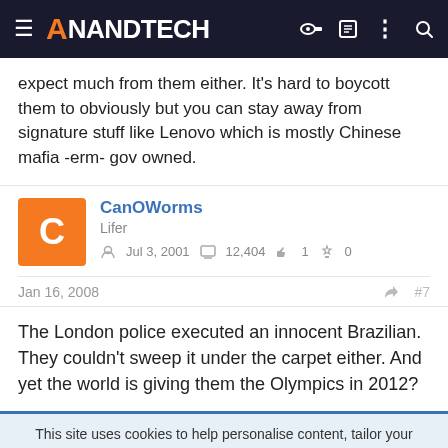AnandTech
expect much from them either. It's hard to boycott them to obviously but you can stay away from signature stuff like Lenovo which is mostly Chinese mafia -erm- gov owned.
CanOWorms
Lifer
Jul 3, 2001  12,404  1  0
Jan 16, 2008  #7
The London police executed an innocent Brazilian. They couldn't sweep it under the carpet either. And yet the world is giving them the Olympics in 2012?
This site uses cookies to help personalise content, tailor your experience and to keep you logged in if you register.
By continuing to use this site, you are consenting to our use of cookies.
[Figure (infographic): Tech Leadership Awards 2022 advertisement banner with cyan/dark color scheme. Text: Celebrating the people and products shaping the future of media technology. NOMINATE TODAY button.]